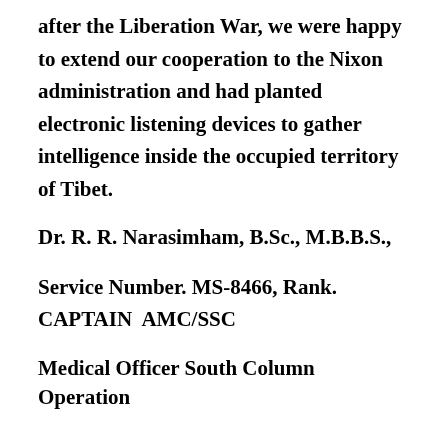after the Liberation War, we were happy to extend our cooperation to the Nixon administration and had planted electronic listening devices to gather intelligence inside the occupied territory of Tibet.
Dr. R. R. Narasimham, B.Sc., M.B.B.S.,
Service Number. MS-8466, Rank. CAPTAIN  AMC/SSC
Medical Officer South Column Operation